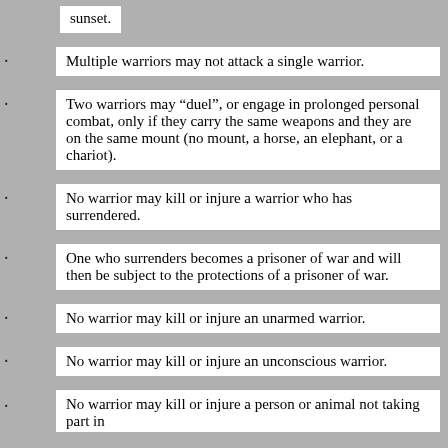sunset.
Multiple warriors may not attack a single warrior.
Two warriors may “duel”, or engage in prolonged personal combat, only if they carry the same weapons and they are on the same mount (no mount, a horse, an elephant, or a chariot).
No warrior may kill or injure a warrior who has surrendered.
One who surrenders becomes a prisoner of war and will then be subject to the protections of a prisoner of war.
No warrior may kill or injure an unarmed warrior.
No warrior may kill or injure an unconscious warrior.
No warrior may kill or injure a person or animal not taking part in